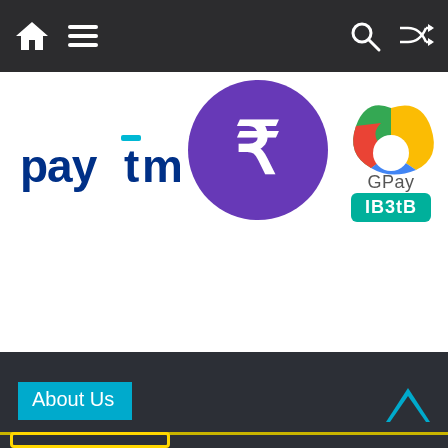Navigation bar with home, menu, search, and shuffle icons
[Figure (logo): Paytm logo in dark blue text]
[Figure (logo): PhonePe logo - white rupee symbol on purple circle background]
[Figure (logo): Google Pay (GPay) logo with colorful G icon and teal IB3tB badge]
[Figure (logo): Amazon Pay logo with orange pay badge and D291VP code badge]
About Us